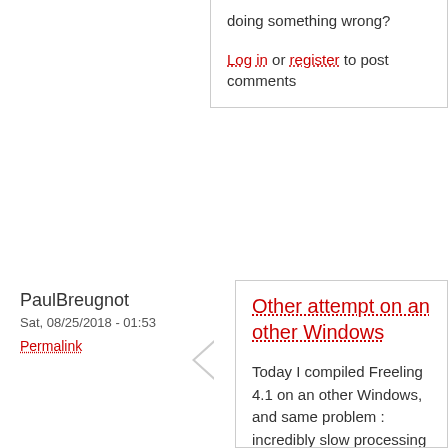doing something wrong?
Log in or register to post comments
PaulBreugnot
Sat, 08/25/2018 - 01:53
Permalink
Other attempt on an other Windows
Today I compiled Freeling 4.1 on an other Windows, and same problem : incredibly slow processing with sample.py, and crash when trying to load ukb.
Maybe a problem with some version of Visual Studio / CMake /